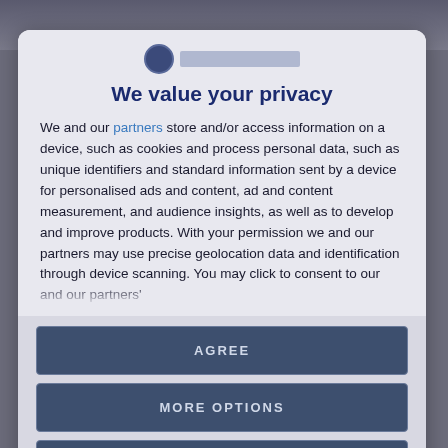[Figure (photo): Blurred background photo behind the modal dialog, dark grayish-blue tones]
We value your privacy
We and our partners store and/or access information on a device, such as cookies and process personal data, such as unique identifiers and standard information sent by a device for personalised ads and content, ad and content measurement, and audience insights, as well as to develop and improve products. With your permission we and our partners may use precise geolocation data and identification through device scanning. You may click to consent to our and our partners'
AGREE
MORE OPTIONS
DISAGREE